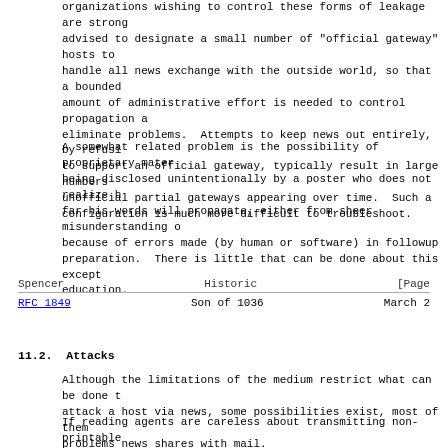organizations wishing to control these forms of leakage are strongly advised to designate a small number of "official gateway" hosts to handle all news exchange with the outside world, so that a bounded amount of administrative effort is needed to control propagation and eliminate problems.  Attempts to keep news out entirely, by refusing to support an official gateway, typically result in large numbers of unofficial partial gateways appearing over time.  Such a configuration is much more difficult to troubleshoot.
A somewhat related problem is the possibility of proprietary material being disclosed unintentionally by a poster who does not realize how far his words will propagate, either from sheer misunderstanding or because of errors made (by human or software) in followup preparation.  There is little that can be done about this except education.
Spencer                          Historic                         [Page
RFC 1849                        Son of 1036                       March 2
11.2.  Attacks
Although the limitations of the medium restrict what can be done to attack a host via news, some possibilities exist, most of them problems news shares with mail.
If reading agents are careless about transmitting non-printable characters to output devices, malicious posters may post articles containing control sequences ("letterbombs") meant to have various destructive effects on output devices.  Possible effects depend on the device, but they can include hardware damage (e.g., by repeat